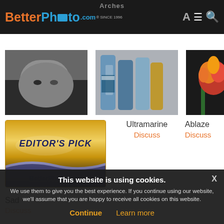BetterPhoto.com - Arches
[Figure (photo): Black and white photo of a child lying down, looking sideways]
[Figure (photo): Color photo of paint tubes/brushes in a container, titled Ultramarine]
[Figure (photo): Color photo of an orange flower on dark background, titled Ablaze]
[Figure (illustration): Editor's Pick badge from BetterPhoto.com]
Ultramarine
Discuss
Ablaze
Discuss
Sad
Discuss
This website is using cookies. We use them to give you the best experience. If you continue using our website, we'll assume that you are happy to receive all cookies on this website.
Continue
Learn more